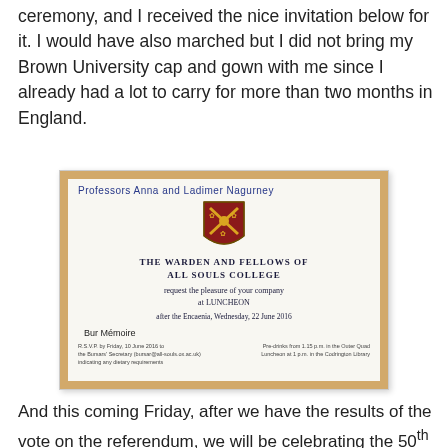ceremony, and I received the nice invitation below for it. I would have also marched but I did not bring my Brown University cap and gown with me since I already had a lot to carry for more than two months in England.
[Figure (photo): A photograph of a formal invitation card from The Warden and Fellows of All Souls College, placed on a wooden surface. The card has a handwritten name 'Professors Anna and Ladimer Nagurney' at the top, the college crest in the center, and printed text requesting the pleasure of company at a luncheon after the Encaenia, Wednesday 22 June 2016.]
And this coming Friday, after we have the results of the vote on the referendum, we will be celebrating the 50th anniversary of the Visiting Fellows program at All Souls College with many Visiting Fellows returning to Oxford. Below is a photo that the Visiting Fellows at All Souls College took recently after a delicious dinner and wonderful lecture. Included in the photo are also the Warden, Sir John Vickers